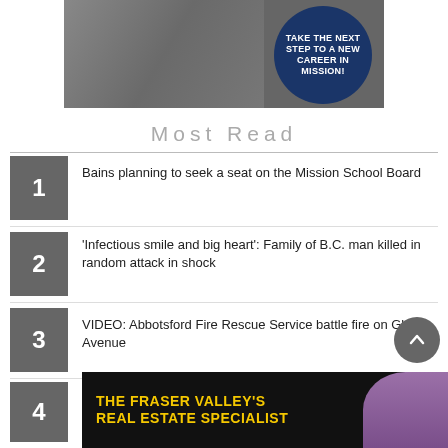[Figure (photo): Advertisement banner at top: photo of a person with a vehicle, with a dark blue circle overlay reading 'TAKE THE NEXT STEP TO A NEW CAREER IN MISSION!']
Most Read
1 Bains planning to seek a seat on the Mission School Board
2 'Infectious smile and big heart': Family of B.C. man killed in random attack in shock
3 VIDEO: Abbotsford Fire Rescue Service battle fire on Gladys Avenue
4 Abbotsford trustee speaks out about son’s overdose death to help others
[Figure (photo): Advertisement banner at bottom with black background, yellow text reading 'THE FRASER VALLEY'S REAL ESTATE SPECIALIST' and a photo of a woman]